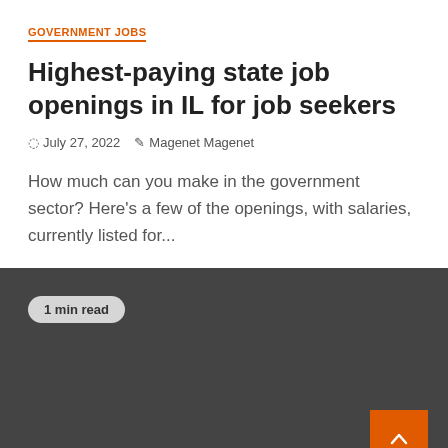GOVERNMENT JOBS
Highest-paying state job openings in IL for job seekers
July 27, 2022   Magenet Magenet
How much can you make in the government sector? Here's a few of the openings, with salaries, currently listed for...
1 min read